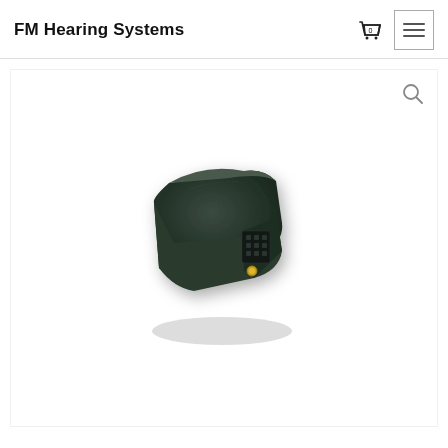FM Hearing Systems
[Figure (photo): A dark green/black hearing aid FM receiver device shown at an angle, with connectors visible on the front face and a gold contact pin visible on the bottom.]